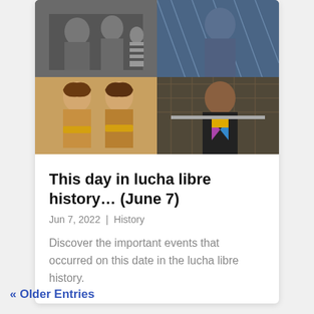[Figure (photo): 2x2 grid of wrestling photos: top-left is a black and white photo of wrestlers grappling, top-right is a blue-tinted photo of a man near a chain-link fence, bottom-left is a color photo of two long-haired wrestlers with championship belts, bottom-right is a color photo of a man in a black t-shirt near a fence holding a bar.]
This day in lucha libre history… (June 7)
Jun 7, 2022 | History
Discover the important events that occurred on this date in the lucha libre history.
« Older Entries